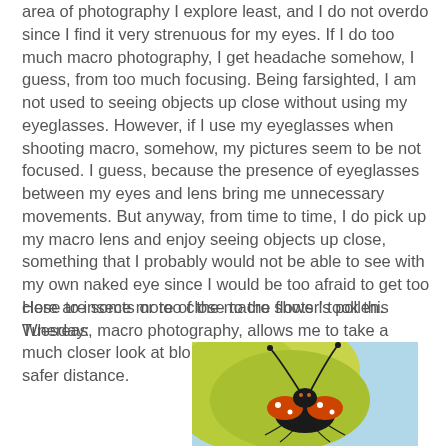area of photography I explore least, and I do not overdo since I find it very strenuous for my eyes. If I do too much macro photography, I get headache somehow, I guess, from too much focusing. Being farsighted, I am not used to seeing objects up close without using my eyeglasses. However, if I use my eyeglasses when shooting macro, somehow, my pictures seem to be not focused. I guess, because the presence of eyeglasses between my eyes and lens bring me unnecessary movements. But anyway, from time to time, I do pick up my macro lens and enjoy seeing objects up close, something that I probably would not be able to see with my own naked eye since I would be too afraid to get too close to insects or too close to the flower's pollen. Whereas, macro photography, allows me to take a much closer look at blooms and various critters from a safer distance.
Here are some more of the macro shots I took this Tuesday:
[Figure (photo): Close-up macro photo of a butterfly or insect with antennae, black and orange coloring, against a yellow-green and blue background]